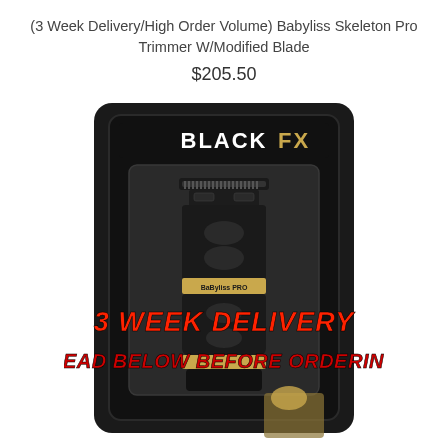(3 Week Delivery/High Order Volume) Babyliss Skeleton Pro Trimmer W/Modified Blade
$205.50
[Figure (photo): Babyliss BlackFX Skeleton Pro Trimmer product in black packaging with gold accents, overlaid with bold red italic text reading '3 WEEK DELIVERY' and 'READ BELOW BEFORE ORDERING']